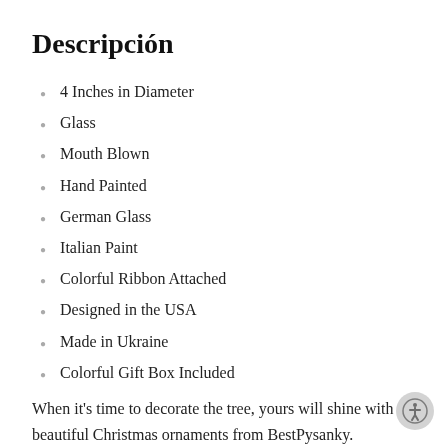Descripción
4 Inches in Diameter
Glass
Mouth Blown
Hand Painted
German Glass
Italian Paint
Colorful Ribbon Attached
Designed in the USA
Made in Ukraine
Colorful Gift Box Included
When it's time to decorate the tree, yours will shine with beautiful Christmas ornaments from BestPysanky. Sumptuously decorated with ornate designs and shimmering glitter, our glass ornaments collection lends a luxurious look to your tree. Our collectible